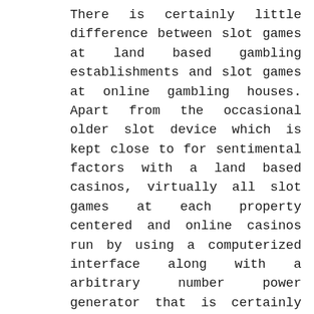There is certainly little difference between slot games at land based gambling establishments and slot games at online gambling houses. Apart from the occasional older slot device which is kept close to for sentimental factors with a land based casinos, virtually all slot games at each property centered and online casinos run by using a computerized interface along with a arbitrary number power generator that is certainly pc nick dependent. There exists one particular modest, simple variation; nonetheless it's considerable enough to operate vehicle slots lovers to the handier online version in their interest. The payout portion at online gambling houses is often more than at property structured casino houses. It is far from a massive distinction, and often only comes down to a single percent level. However, the fact remains to be that enjoying in an online casino will be more lucrative with time. This getting the way it is, increasingly more players are opting for locating